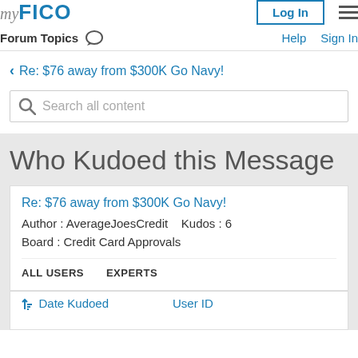myFICO   Log In   Forum Topics   Help   Sign In
< Re: $76 away from $300K Go Navy!
Search all content
Who Kudoed this Message
Re: $76 away from $300K Go Navy!
Author : AverageJoesCredit   Kudos : 6
Board : Credit Card Approvals
ALL USERS   EXPERTS
| Date Kudoed | User ID |
| --- | --- |